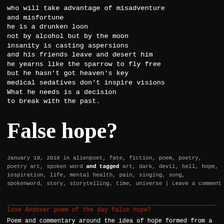who will take advantage of misadventure
and misfortune
he is a drunken loon
not by alcohol but by the moon
insanity is casting aspersions
and his friends leave and desert him
he yearns like the sparrow to fly free
but he hasn't got heaven's key
medical sedatives don't inspire visions
What he needs is a decision
to break with the past.
False hope?
January 19, 2018 in alienpoet, fate, fiction, poem, poetry, poetry art, spoken word and tagged art, dark, devil, hell, hope, inspiration, life, mental health, pain, singing, song, spokenword, story, storytelling, time, universe | Leave a comment
love Andover poem of the day false hope?
Poem and commentary around the idea of hope formed from a short poem